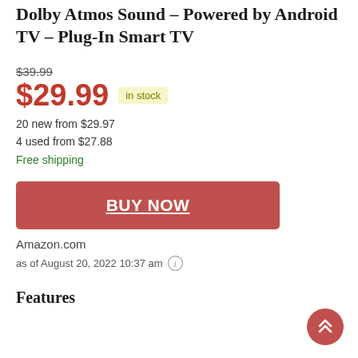Dolby Atmos Sound – Powered by Android TV – Plug-In Smart TV
$39.99
$29.99  in stock
20 new from $29.97
4 used from $27.88
Free shipping
BUY NOW
Amazon.com
as of August 20, 2022 10:37 am
Features